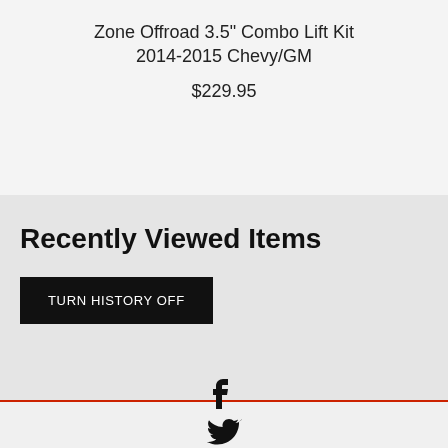Zone Offroad 3.5" Combo Lift Kit 2014-2015 Chevy/GM
$229.95
Recently Viewed Items
TURN HISTORY OFF
[Figure (other): Social media icons: Facebook, Twitter, Instagram]